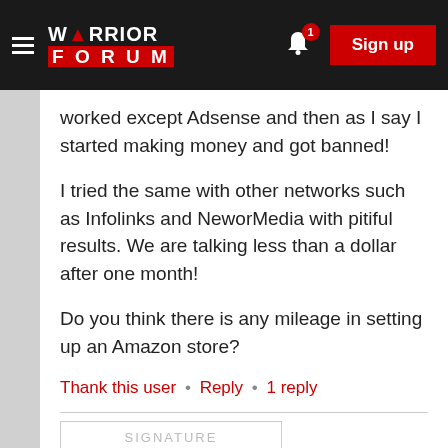Warrior Forum
worked except Adsense and then as I say I started making money and got banned!
I tried the same with other networks such as Infolinks and NeworMedia with pitiful results. We are talking less than a dollar after one month!
Do you think there is any mileage in setting up an Amazon store?
Thank this user • Reply • 1 reply
SIGNATURE